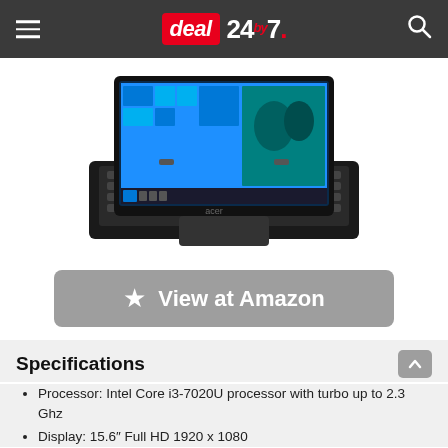deal 24by7
[Figure (photo): Acer laptop shown from above with Windows 10 displayed on screen, black keyboard visible]
View at Amazon
Specifications
Processor: Intel Core i3-7020U processor with turbo up to 2.3 Ghz
Display: 15.6″ Full HD 1920 x 1080